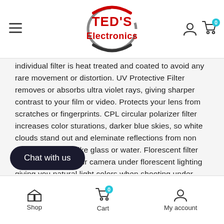TED'S Electronics
individual filter is heat treated and coated to avoid any rare movement or distortion. UV Protective Filter removes or absorbs ultra violet rays, giving sharper contrast to your film or video. Protects your lens from scratches or fingerprints. CPL circular polarizer filter increases color sturations, darker blue skies, so white clouds stand out and eleminate reflections from non metallic surfaces like glass or water. Florescent filter allows for using your camera under florescent lighting giving you natural light colors when shooting under florecent conditions. Lens Pen Safe for all LCD screens, lenses and optical surfaces. Patented Dry Fiber
Shop | Cart | My account